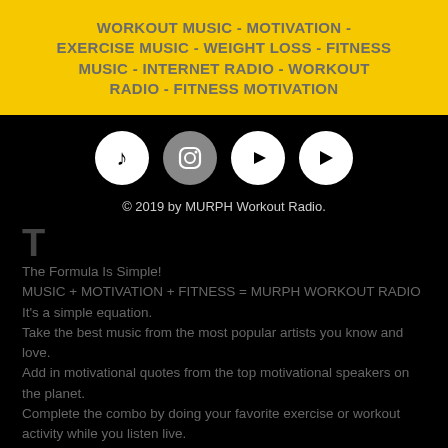WORKOUT MUSIC - MOTIVATION - EXERCISE MUSIC - WEIGHT LOSS - FITNESS MUSIC - INTERNET RADIO - WORKOUT RADIO - FITNESS MOTIVATION
[Figure (infographic): Four circular icon buttons on black background: music note, Instagram, YouTube, Google Play]
© 2019 by MURPH Workout Radio.
T
The Formula Is Simple!
MUSIC + MOTIVATION + FITNESS = MURPH WORKOUT RADIO
It's a simple equation.
Take the best music from the most popular artists you know and love.
Add in motivational quotes from the top motivational speakers on the planet.
Complete the combo by doing your favorite exercise or workout activity while you listen live.
This is Murph Workout Radio.... The magic formula to transform your life!
Live Workout Radio features multiple